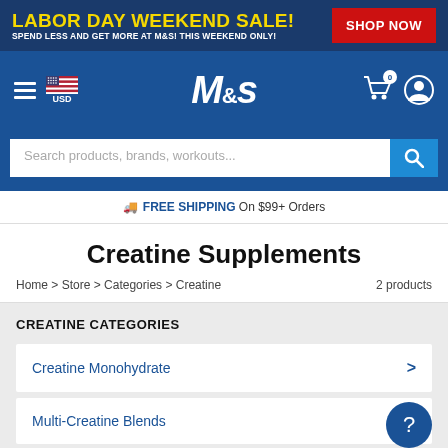LABOR DAY WEEKEND SALE! SPEND LESS AND GET MORE AT M&S! THIS WEEKEND ONLY! SHOP NOW
[Figure (logo): M&S Muscle & Strength website navigation bar with hamburger menu, USD flag, M&S logo, cart icon (0 items), and user icon]
Search products, brands, workouts...
FREE SHIPPING On $99+ Orders
Creatine Supplements
Home > Store > Categories > Creatine    2 products
CREATINE CATEGORIES
Creatine Monohydrate
Multi-Creatine Blends